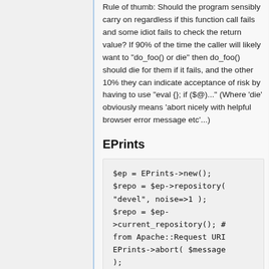Rule of thumb: Should the program sensibly carry on regardless if this function call fails and some idiot fails to check the return value? If 90% of the time the caller will likely want to "do_foo() or die" then do_foo() should die for them if it fails, and the other 10% they can indicate acceptance of risk by having to use "eval {}; if ($@)..." (Where 'die' obviously means 'abort nicely with helpful browser error message etc'...)
EPrints
$ep = EPrints->new();
$repo = $ep->repository("devel", noise=>1 );
$repo = $ep->current_repository(); # from Apache::Request URI
EPrints->abort( $message
);